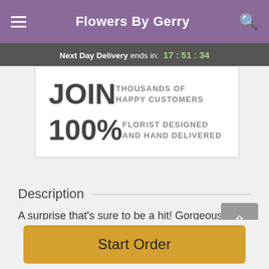Flowers By Gerry
Next Day Delivery ends in: 17:51:34
JOIN THOUSANDS OF HAPPY CUSTOMERS
100% FLORIST DESIGNED AND HAND DELIVERED
Description
A surprise that's sure to be a hit! Gorgeous blooms in soft shades of pink and purple are a lovely way to make
Start Order